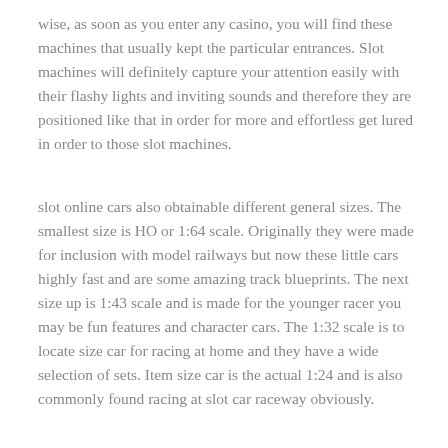wise, as soon as you enter any casino, you will find these machines that usually kept the particular entrances. Slot machines will definitely capture your attention easily with their flashy lights and inviting sounds and therefore they are positioned like that in order for more and effortless get lured in order to those slot machines.
slot online cars also obtainable different general sizes. The smallest size is HO or 1:64 scale. Originally they were made for inclusion with model railways but now these little cars highly fast and are some amazing track blueprints. The next size up is 1:43 scale and is made for the younger racer you may be fun features and character cars. The 1:32 scale is to locate size car for racing at home and they have a wide selection of sets. Item size car is the actual 1:24 and is also commonly found racing at slot car raceway obviously.